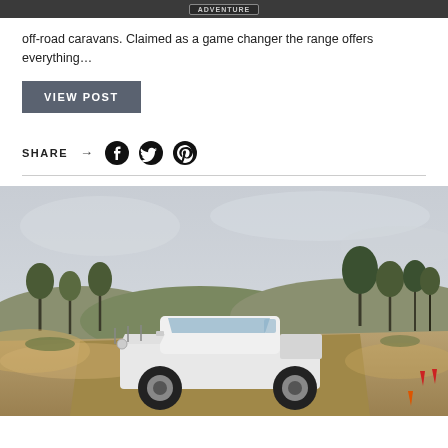ADVENTURE
off-road caravans. Claimed as a game changer the range offers everything…
VIEW POST
SHARE
[Figure (photo): White Volkswagen Amarok dual-cab ute driving on a dusty off-road track with trees and hills in the background, dust rising around the vehicle.]